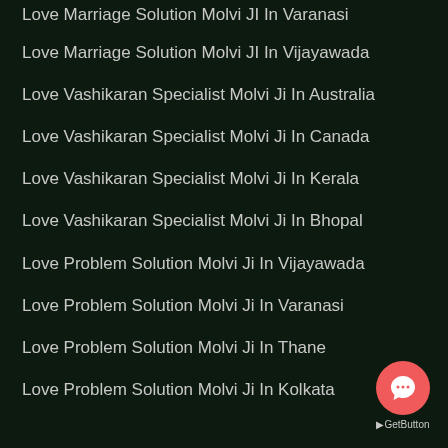Love Marriage Solution Molvi JI In Varanasi
Love Marriage Solution Molvi JI In Vijayawada
Love Vashikaran Specialist Molvi Ji In Australia
Love Vashikaran Specialist Molvi Ji In Canada
Love Vashikaran Specialist Molvi Ji In Kerala
Love Vashikaran Specialist Molvi Ji In Bhopal
Love Problem Solution Molvi Ji In Vijayawada
Love Problem Solution Molvi Ji In Varanasi
Love Problem Solution Molvi Ji In Thane
Love Problem Solution Molvi Ji In Kolkata
[Figure (illustration): GetButton chat widget button in coral/red circle with speech bubble icon]